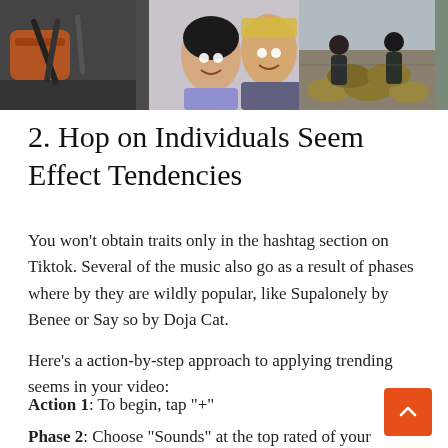[Figure (photo): Three photos side by side: left shows a hand holding dark tools on a gray surface, middle shows a young girl and a blonde woman smiling together, right shows workers near sandbags in an outdoor setting.]
2. Hop on Individuals Seem Effect Tendencies
You won’t obtain traits only in the hashtag section on Tiktok. Several of the music also go as a result of phases where by they are wildly popular, like Supalonely by Benee or Say so by Doja Cat.
Here’s a action-by-step approach to applying trending seems in your video:
Action 1: To begin, tap “+”
Phase 2: Choose “Sounds” at the top rated of your display